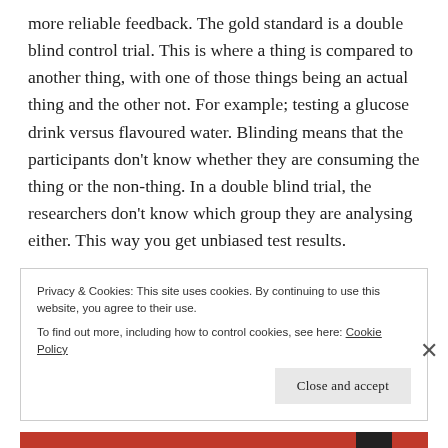more reliable feedback. The gold standard is a double blind control trial. This is where a thing is compared to another thing, with one of those things being an actual thing and the other not. For example; testing a glucose drink versus flavoured water. Blinding means that the participants don't know whether they are consuming the thing or the non-thing. In a double blind trial, the researchers don't know which group they are analysing either. This way you get unbiased test results.
Privacy & Cookies: This site uses cookies. By continuing to use this website, you agree to their use.
To find out more, including how to control cookies, see here: Cookie Policy
Close and accept